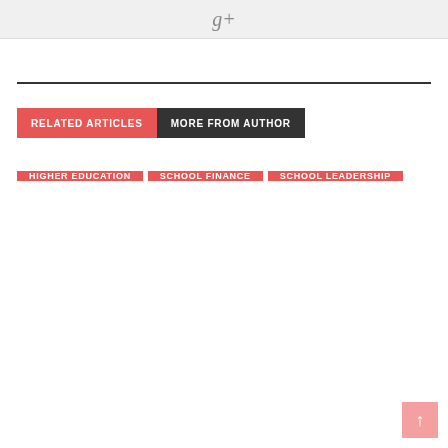[Figure (other): Google+ icon centered in a light gray banner at the top of the page]
RELATED ARTICLES | MORE FROM AUTHOR
HIGHER EDUCATION
SCHOOL FINANCE
SCHOOL LEADERSHIP